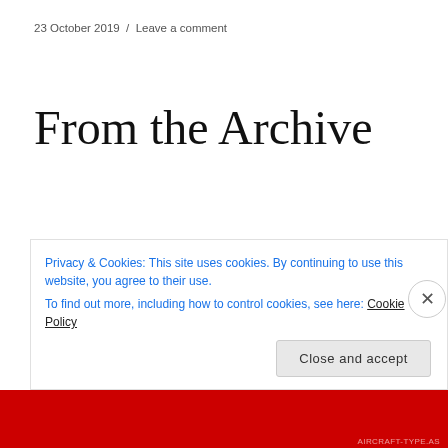23 October 2019  /  Leave a comment
From the Archive
[Figure (photo): Broken/missing image placeholder (small icon)]
On 23 October 1941, the Second Battle of El Alamein began. Resulting in an Allied victory, the battle was a turning point in the Desert Campaign, eliminating the
Privacy & Cookies: This site uses cookies. By continuing to use this website, you agree to their use.
To find out more, including how to control cookies, see here: Cookie Policy
Close and accept